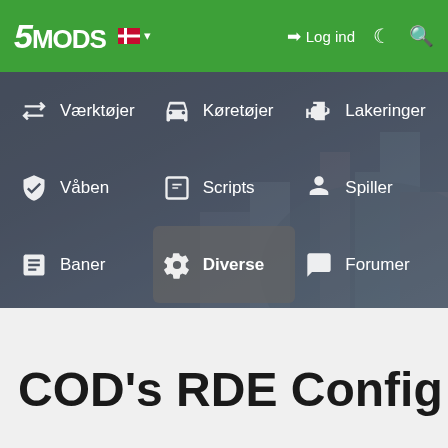5MODS — Log ind navigation
[Figure (screenshot): 5Mods website navigation menu with dropdown showing: Værktøjer, Køretøjer, Lakeringer, Våben, Scripts, Spiller, Baner, Diverse (highlighted), Forumer, Mere — overlaid on a dark GTA city background]
COD's RDE Config 2.1